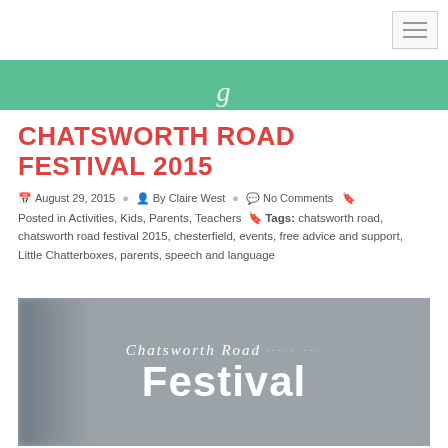[Figure (screenshot): Navigation hamburger menu button in top-right corner]
[Figure (illustration): Green banner with script logo text]
CHATSWORTH ROAD FESTIVAL 2015
August 29, 2015   By Claire West   No Comments
Posted in Activities, Kids, Parents, Teachers   Tags: chatsworth road, chatsworth road festival 2015, chesterfield, events, free advice and support, Little Chatterboxes, parents, speech and language
[Figure (photo): Photo with overlay text reading 'Chatsworth Road ......... Festival']